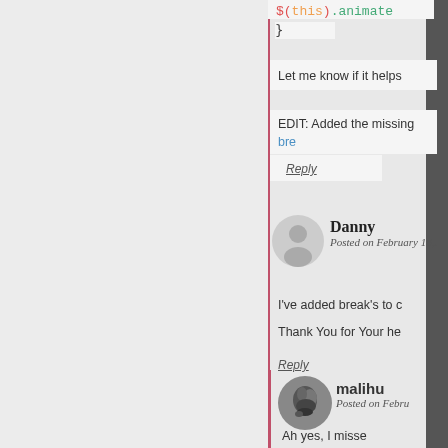}
Let me know if it helps
EDIT: Added the missing bre
Reply
Danny
Posted on February 10,.
I've added break's to c
Thank You for Your he
Reply
malihu
Posted on Febru
Ah yes, I misse